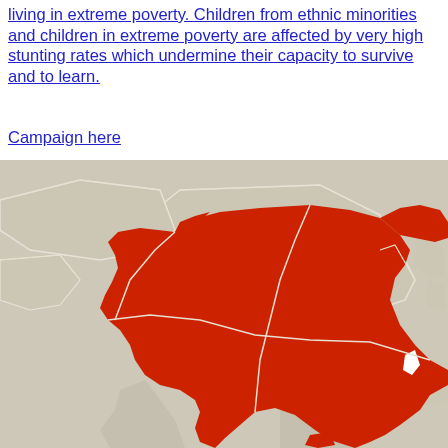living in extreme poverty. Children from ethnic minorities and children in extreme poverty are affected by very high stunting rates which undermine their capacity to survive and to learn.
Campaign here
[Figure (map): Map of Asia with China highlighted in red, surrounding countries shown in light gray/beige. Shows China's borders and neighboring regions including Central Asia, Southeast Asia, and the Korean Peninsula.]